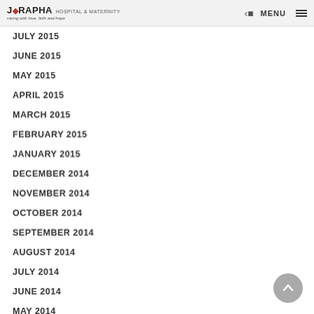J-RAPHA HOSPITAL & MATERNITY — caring with love, faith and hope — MENU
JULY 2015
JUNE 2015
MAY 2015
APRIL 2015
MARCH 2015
FEBRUARY 2015
JANUARY 2015
DECEMBER 2014
NOVEMBER 2014
OCTOBER 2014
SEPTEMBER 2014
AUGUST 2014
JULY 2014
JUNE 2014
MAY 2014
APRIL 2014